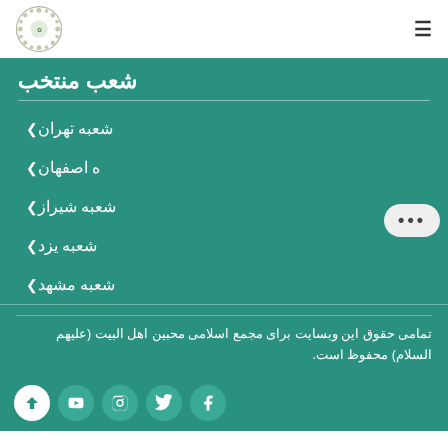شعب منتخب
شعبه تهران
شعبه اصفهان
شعبه شیراز
شعبه یزد
شعبه مشهد
تمامی حقوق این وبسایت برای مجمع اسلامی محبین اهل البیت (علیهم السلام) محفوظ است.